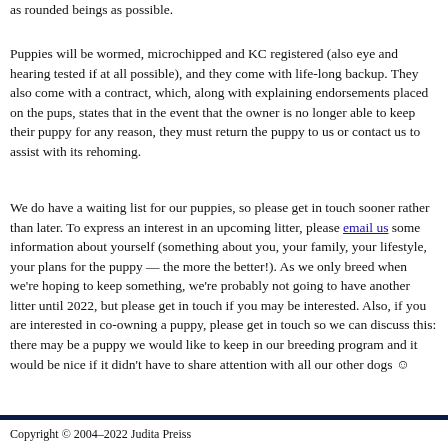as rounded beings as possible.
Puppies will be wormed, microchipped and KC registered (also eye and hearing tested if at all possible), and they come with life-long backup. They also come with a contract, which, along with explaining endorsements placed on the pups, states that in the event that the owner is no longer able to keep their puppy for any reason, they must return the puppy to us or contact us to assist with its rehoming.
We do have a waiting list for our puppies, so please get in touch sooner rather than later. To express an interest in an upcoming litter, please email us some information about yourself (something about you, your family, your lifestyle, your plans for the puppy — the more the better!). As we only breed when we're hoping to keep something, we're probably not going to have another litter until 2022, but please get in touch if you may be interested. Also, if you are interested in co-owning a puppy, please get in touch so we can discuss this: there may be a puppy we would like to keep in our breeding program and it would be nice if it didn't have to share attention with all our other dogs ☺
Copyright © 2004–2022 Judita Preiss